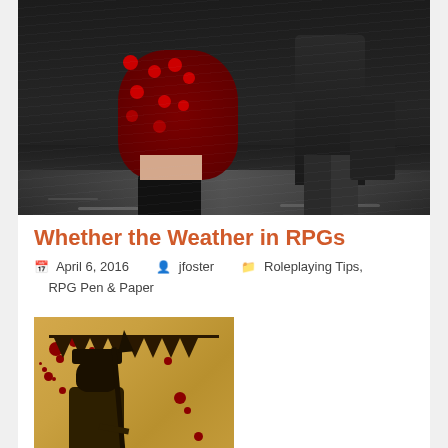[Figure (photo): Black and white photo of people walking in rain on wet pavement. Woman wearing red floral dress and black boots is prominent in foreground. Another figure visible in background.]
Whether the Weather in RPGs
April 6, 2016   jfoster   Roleplaying Tips, RPG Pen & Paper
[Figure (illustration): Vintage parchment-style illustration with blood splatters showing a warrior figure with spear and banners in dark sepia tones on aged yellow-brown background.]